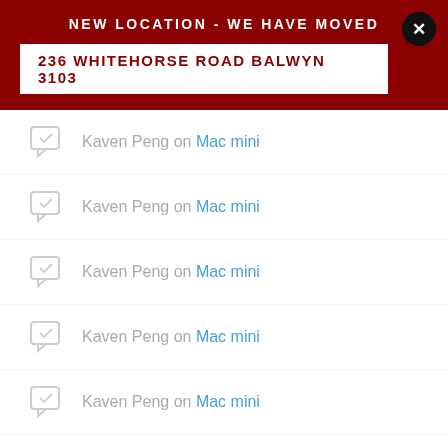NEW LOCATION - WE HAVE MOVED
236 WHITEHORSE ROAD BALWYN 3103
Kaven Peng on Mac mini
Kaven Peng on Mac mini
Kaven Peng on Mac mini
Kaven Peng on Mac mini
Kaven Peng on Mac mini
Archives
January 2018